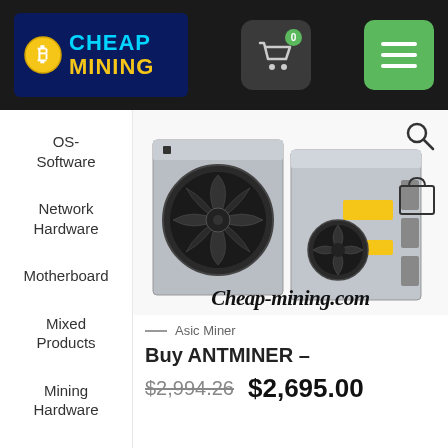[Figure (logo): Cheap Mining logo with Bitcoin coin icon, blue background, cyan CHEAP and yellow MINING text]
[Figure (other): Shopping cart icon with badge showing 0]
[Figure (other): Green hamburger menu button with three white lines]
OS-Software
Network Hardware
Motherboard
Mixed Products
Mining Hardware
[Figure (photo): Two Antminer ASIC cryptocurrency mining machines side by side, with large cooling fans visible, grey/silver hardware units]
Cheap-mining.com
Asic Miner
Buy ANTMINER –
$2,994.26  $2,695.00